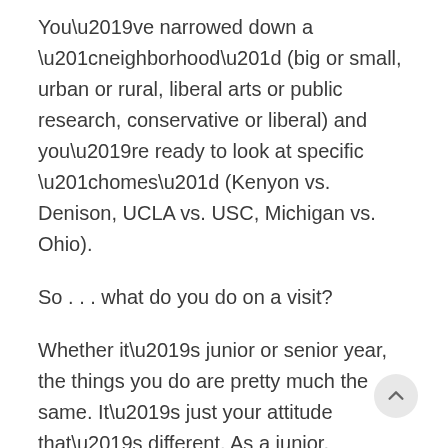You've narrowed down a “neighborhood” (big or small, urban or rural, liberal arts or public research, conservative or liberal) and you’re ready to look at specific “homes” (Kenyon vs. Denison, UCLA vs. USC, Michigan vs. Ohio).
So . . . what do you do on a visit?
Whether it’s junior or senior year, the things you do are pretty much the same. It’s just your attitude that’s different. As a junior, you’re thinking broadly. As a senior, you’re thinking specifically: